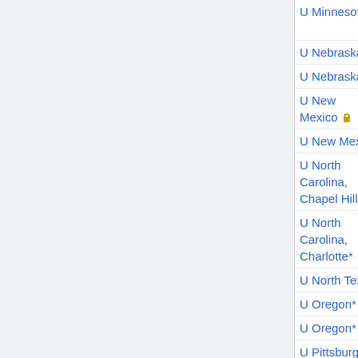| Institution | Areas | Deadline | Notes |
| --- | --- | --- | --- |
| U Minnesota* | all math (3) | Dec 1 | jeopardize |
| U Nebraska* | analysis | Dec 5 | Frozen |
| U Nebraska* | biomath | Dec 5 | Carina Cu |
| U New Mexico 🔒 | applied | Jan 7 |  |
| U New Mexico | stat | Jan 1 |  |
| U North Carolina, Chapel Hill* | geom, algebra | Dec 1 frozen |  |
| U North Carolina, Charlotte* | comp math | Dec 1 frozen |  |
| U North Texas* | logic | Dec 1 |  |
| U Oregon* | all math | Dec 13 |  |
| U Oregon* | probability | Dec 13 |  |
| U Pittsburgh* | algebra | Nov 30 | suspended |
| U Pittsburgh* | numer anal | Nov 30 | suspended |
| U Pittsburgh* | topology | Nov 30 | suspended |
| U South | applied | Nov 15 | Gil Ariol |